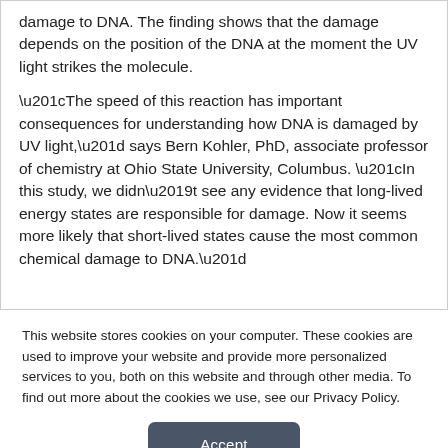damage to DNA. The finding shows that the damage depends on the position of the DNA at the moment the UV light strikes the molecule.
“The speed of this reaction has important consequences for understanding how DNA is damaged by UV light,” says Bern Kohler, PhD, associate professor of chemistry at Ohio State University, Columbus. “In this study, we didn’t see any evidence that long-lived energy states are responsible for damage. Now it seems more likely that short-lived states cause the most common chemical damage to DNA.”
This website stores cookies on your computer. These cookies are used to improve your website and provide more personalized services to you, both on this website and through other media. To find out more about the cookies we use, see our Privacy Policy.